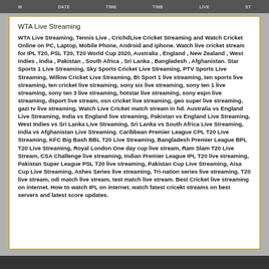WTA Live Date Time Date Live St
WTA Live Streaming
WTA Live Streaming, Tennis Live , CrichdLive Cricket Streaming and Watch Cricket Online on PC, Laptop, Mobile Phone, Android and iphone. Watch live cricket stream for IPL T20, PSL T20, T20 World Cup 2020, Australia , England , New Zealand , West Indies , India , Pakistan , South Africa , Sri Lanka , Bangladesh , Afghanistan. Star Sports 1 Live Streaming, Sky Sports Cricket Live Streaming, PTV Sports Live Streaming, Willow Cricket Live Streaming, Bt Sport 1 live streaming, ten sports live streaming, ten cricket live streaming, sony six live streaming, sony ten 1 live streaming, sony ten 3 live streaming, hotstar live streaming, sony espn live streaming, dsport live stream, osn cricket live streaming, geo super live streaming, gazi tv live streaming. Watch Live Cricket match stream in hd. Australia vs England Live Streaming, India vs England live streaming, Pakistan vs England Live Streaming, West Indies vs Sri Lanka Live Streaming, Sri Lanka vs South Africa Live Streaming, India vs Afghanistan Live Streaming. Caribbean Premier League CPL T20 Live Streaming, KFC Big Bash BBL T20 Live Streaming, Bangladesh Premier League BPL T20 Live Streaming, Royal London One day cup live stream, Ram Slam T20 Live Stream, CSA Challenge live streaming, Indian Premier League IPL T20 live streaming, Pakistan Super League PSL T20 live streaming, Pakistan Cup Live Streaming, Aisa Cup Live Streaming, Ashes Series live streaming, Tri-nation series live streaming, T20 live stream, odi match live stream, test match live stream. Best Cricket live streaming on internet. How to watch IPL on internet. watch fatest cricekt streams on best servers and latest score updates.